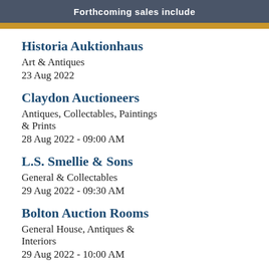Forthcoming sales include
Historia Auktionhaus
Art & Antiques
23 Aug 2022
Claydon Auctioneers
Antiques, Collectables, Paintings & Prints
28 Aug 2022 - 09:00 AM
L.S. Smellie & Sons
General & Collectables
29 Aug 2022 - 09:30 AM
Bolton Auction Rooms
General House, Antiques & Interiors
29 Aug 2022 - 10:00 AM
Southgate Auction Rooms